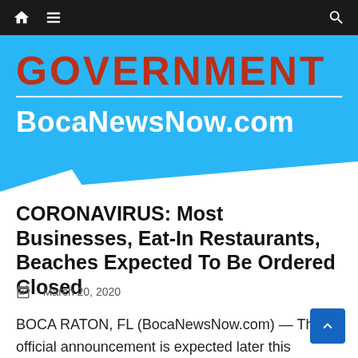Navigation bar with home, menu, and search icons
[Figure (screenshot): BocaNewsNow.com Government section banner with blue background, red GOVERNMENT text, white horizontal rule, and white BocaNewsNow.com site name]
CORONAVIRUS: Most Businesses, Eat-In Restaurants, Beaches Expected To Be Ordered Closed
March 20, 2020
BOCA RATON, FL (BocaNewsNow.com) — The official announcement is expected later this morning but to follow our Thursday night repor